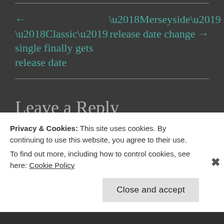← ‘Classic’ single finally gets release date
‘Merseyside’ release date change →
Leave a Reply
Your email address will not be published. Required fields are marked *
Privacy & Cookies: This site uses cookies. By continuing to use this website, you agree to their use.
To find out more, including how to control cookies, see here: Cookie Policy
Close and accept